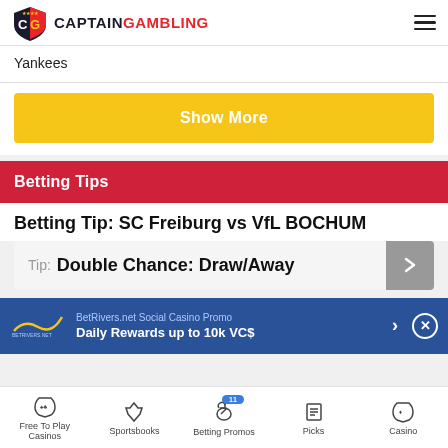CaptainGambling logo and navigation menu
Yankees
Show More
Betting Tips
Betting Tip: SC Freiburg vs VfL BOCHUM
Tip: Double Chance: Draw/Away
BetRivers.net Social Casino Promo Daily Rewards up to 10k VC$
Free To Play Casinos | Sportsbooks | Betting Promos | Picks | Casino